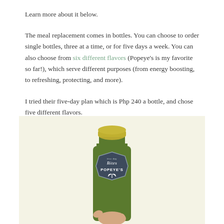Learn more about it below.
The meal replacement comes in bottles. You can choose to order single bottles, three at a time, or for five days a week. You can also choose from six different flavors (Popeye’s is my favorite so far!), which serve different purposes (from energy boosting, to refreshing, protecting, and more).
I tried their five-day plan which is Php 240 a bottle, and chose five different flavors.
[Figure (photo): A hand holding a small green glass bottle with a dark hexagonal label reading 'Bites POPEYE’S' with a leaf/sprout icon, against a light cream background.]